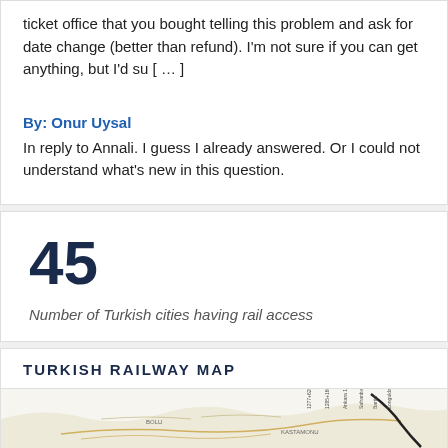ticket office that you bought telling this problem and ask for date change (better than refund). I'm not sure if you can get anything, but I'd su [...]
By: Onur Uysal
In reply to Annali. I guess I already answered. Or I could not understand what's new in this question.
45
Number of Turkish cities having rail access
TURKISH RAILWAY MAP
[Figure (map): Turkish railway map showing rail network across Turkey]